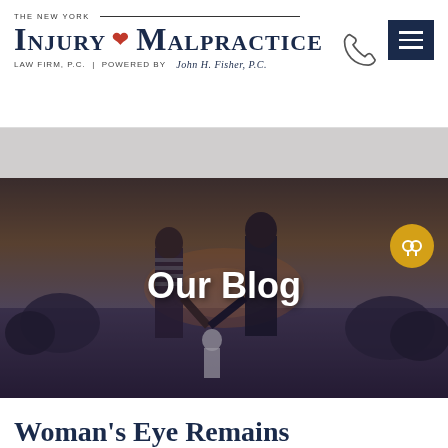THE NEW YORK INJURY & MALPRACTICE LAW FIRM, P.C. | POWERED BY JOHN H. FISHER, P.C.
[Figure (photo): Family of three (man, woman, and small child) walking through a field at sunset, viewed from behind. Overlaid with bold white text reading 'Our Blog'.]
Woman's Eye Remains